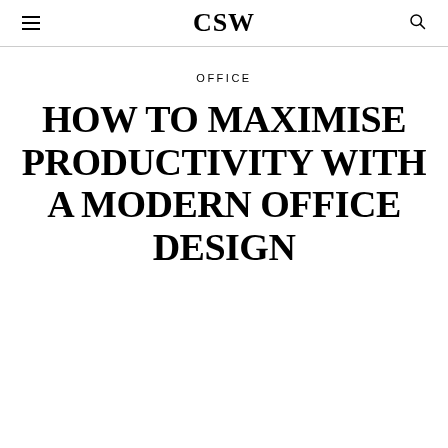CSW
OFFICE
HOW TO MAXIMISE PRODUCTIVITY WITH A MODERN OFFICE DESIGN